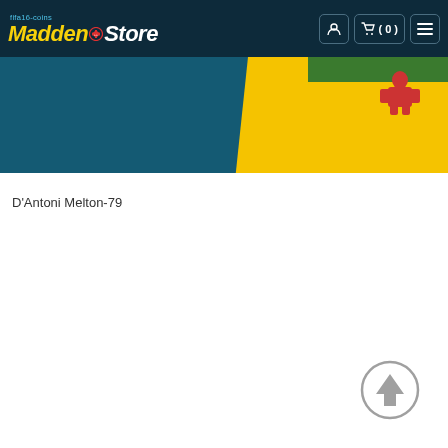fifa16-coins Madden Store — navigation bar with user icon, cart (0), and menu icon
[Figure (screenshot): Hero banner with dark teal background on left side and yellow/gold diagonal stripe with green strip and football player imagery on the right side]
D'Antoni Melton-79